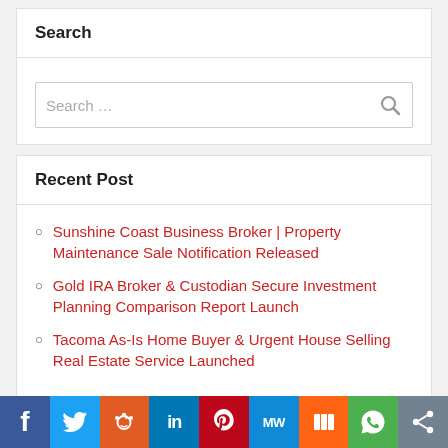Search
Search …
Recent Post
Sunshine Coast Business Broker | Property Maintenance Sale Notification Released
Gold IRA Broker & Custodian Secure Investment Planning Comparison Report Launch
Tacoma As-Is Home Buyer & Urgent House Selling Real Estate Service Launched